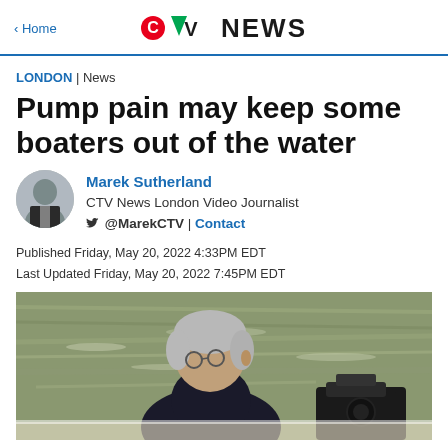CTV News — Home
LONDON | News
Pump pain may keep some boaters out of the water
Marek Sutherland
CTV News London Video Journalist
@MarekCTV | Contact
Published Friday, May 20, 2022 4:33PM EDT
Last Updated Friday, May 20, 2022 7:45PM EDT
[Figure (photo): An elderly man with grey hair and glasses sitting on a boat, viewed from behind, with water in the background and a boat engine visible to the right.]